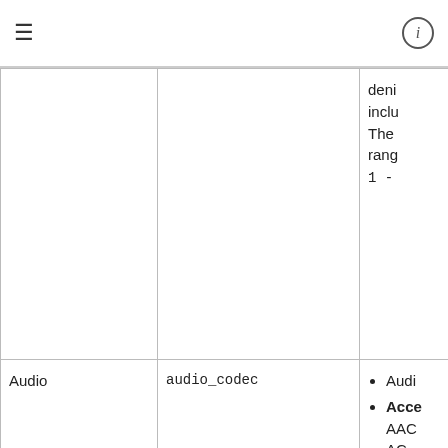≡  ⓘ
| Category | Field | Description |
| --- | --- | --- |
|  |  | deni
inclu
The
rang
1 - |
| Audio | audio_codec | • Audi
• Accepted: AAC
AC-
mus
- fo
EC-

The
not 
sens |